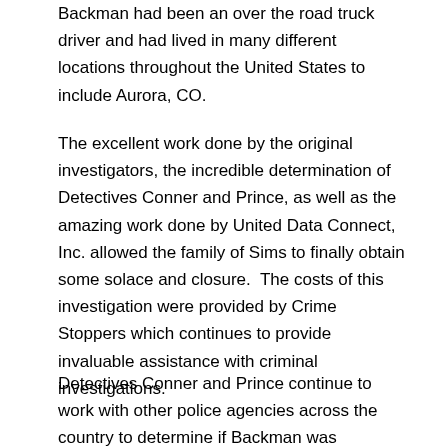Backman had been an over the road truck driver and had lived in many different locations throughout the United States to include Aurora, CO.
The excellent work done by the original investigators, the incredible determination of Detectives Conner and Prince, as well as the amazing work done by United Data Connect, Inc. allowed the family of Sims to finally obtain some solace and closure.  The costs of this investigation were provided by Crime Stoppers which continues to provide invaluable assistance with criminal investigations.
Detectives Conner and Prince continue to work with other police agencies across the country to determine if Backman was responsible for additional unsolved homicides.